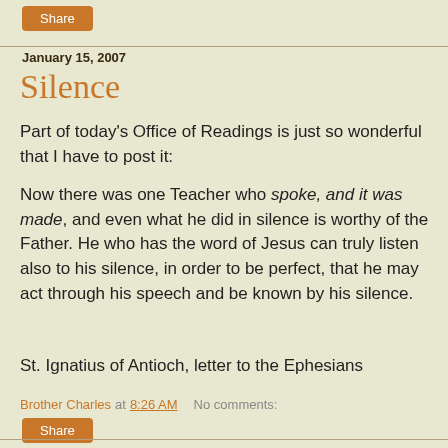Share
January 15, 2007
Silence
Part of today's Office of Readings is just so wonderful that I have to post it:
Now there was one Teacher who spoke, and it was made, and even what he did in silence is worthy of the Father. He who has the word of Jesus can truly listen also to his silence, in order to be perfect, that he may act through his speech and be known by his silence.
St. Ignatius of Antioch, letter to the Ephesians
Brother Charles at 8:26 AM   No comments:
Share